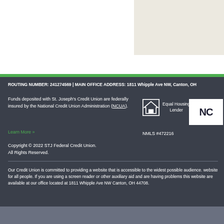ROUTING NUMBER: 241274569 | MAIN OFFICE ADDRESS: 1811 Whipple Ave NW, Canton, OH
Funds deposited with St. Joseph's Credit Union are federally insured by the National Credit Union Administration (NCUA).
Learn More »
Copyright © 2022 STJ Federal Credit Union. All Rights Reserved.
[Figure (logo): Equal Housing Lender logo with house icon]
NMLS #472216
[Figure (logo): NCUA badge logo]
Our Credit Union is committed to providing a website that is accessible to the widest possible audience. website for all people. If you are using a screen reader or other auxiliary aid and are having problems this website are available at our office located at 1811 Whipple Ave NW Canton, OH 44708.